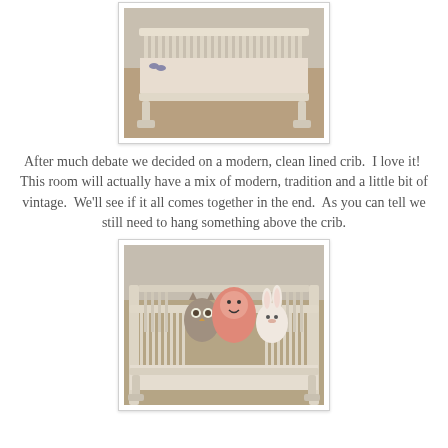[Figure (photo): Front view of a modern white/natural wood baby crib with vertical spindles, sitting on carpet in a nursery room. Shoes visible in background corner.]
After much debate we decided on a modern, clean lined crib.  I love it!  This room will actually have a mix of modern, tradition and a little bit of vintage.  We'll see if it all comes together in the end.  As you can tell we still need to hang something above the crib.
[Figure (photo): Inside view of the same modern baby crib from above, showing stuffed animals (owl, pink bear/character, bunny) resting on a white crib mattress/bumper. Crib has vertical wooden spindles and sits on carpet.]